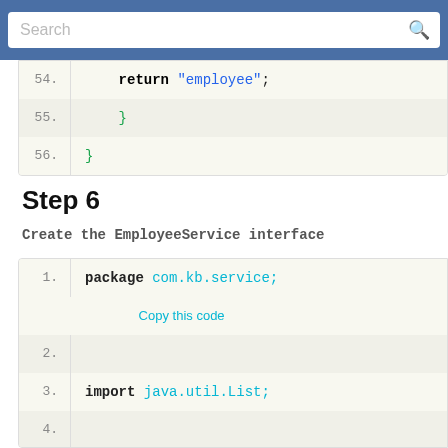[Figure (screenshot): Search bar overlay at top of page with blue background]
54.    return "employee";
55.    }
56. }
Step 6
Create the EmployeeService interface
1.  package com.kb.service;
2.
3.  import java.util.List;
4.
5.  import com.kb.model.Employee;
6.
7.  public interface EmployeeService {
8.
9.      public void addEmployee(Employee employ
10.
11.     public void updateEmployee(Employee emp
12.
13.     public Employee getEmployeeById(int id